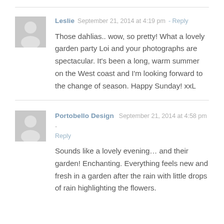Leslie  September 21, 2014 at 4:19 pm  - Reply
Those dahlias.. wow, so pretty! What a lovely garden party Loi and your photographs are spectacular. It's been a long, warm summer on the West coast and I'm looking forward to the change of season. Happy Sunday! xxL
Portobello Design  September 21, 2014 at 4:58 pm - Reply
Sounds like a lovely evening… and their garden! Enchanting. Everything feels new and fresh in a garden after the rain with little drops of rain highlighting the flowers.